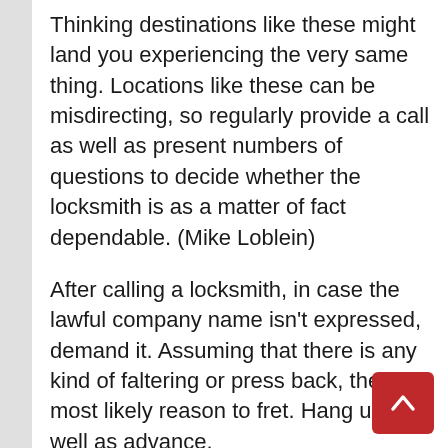Thinking destinations like these might land you experiencing the very same thing. Locations like these can be misdirecting, so regularly provide a call as well as present numbers of questions to decide whether the locksmith is as a matter of fact dependable. (Mike Loblein)
After calling a locksmith, in case the lawful company name isn't expressed, demand it. Assuming that there is any kind of faltering or press back, there is most likely reason to fret. Hang up as well as advance.
Shed your tricks? Simply moved right into one more home? Safe your type in the lorry? Uh oh. Whatever your justification behind requiring one, a locksmith can help with a substantial extent of lock taking care of the lock...